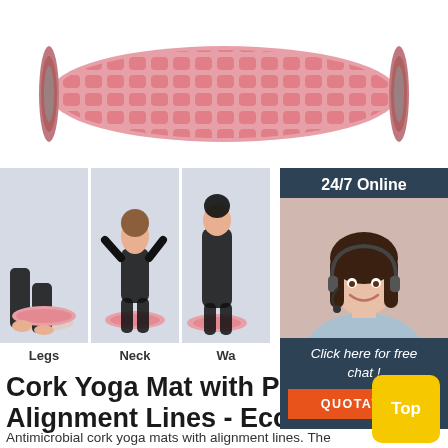[Figure (photo): Pink foam roller product photo on white background]
[Figure (photo): Three exercise demonstration photos showing foam roller used on Legs, Neck, and Waist against light blue backgrounds]
Legs      Neck      Wa...
[Figure (infographic): 24/7 Online chat panel with customer support agent photo, 'Click here for free chat!' text and QUOTATION button]
Cork Yoga Mat with Posi Alignment Lines - Eco
Antimicrobial cork yoga mats with alignment lines. The CorkYogis Classic Mat with Alignment Lines guides your practice for home and studio to the next level. Size: 173 x 61 cm, Weight: 1.8kgThickness: 3mm (1mm sustainable